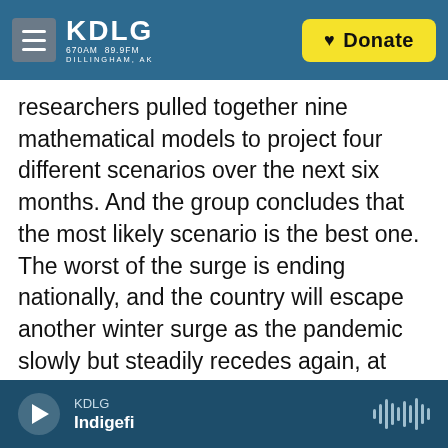KDLG 670AM 89.9FM DILLINGHAM, AK — Donate
researchers pulled together nine mathematical models to project four different scenarios over the next six months. And the group concludes that the most likely scenario is the best one. The worst of the surge is ending nationally, and the country will escape another winter surge as the pandemic slowly but steadily recedes again, at least through the middle of March. Here's Cecile Viboud at the National Institutes of Health. She helped run the consortium.
CECILE VIBOUD: The delta wave is on its way down. We are on the decline. According to this, in
KDLG Indigefi